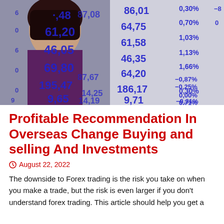[Figure (photo): A woman in dark clothing in front of a financial trading board displaying numbers and percentage changes in blue/purple text on a grey background. Numbers visible include 61.20, 46.05, 69.80, 195.47, 9.65, 87.08, 14.19, 86.01, 64.75, 61.58, 46.35, 64.20, 186.17, 9.71, 87.67, 14.25, along with percentage values like 0.30%, 0.70%, 1.03%, 1.13%, 1.66%, -0.87%, 0.30%, -0.31%, -0.25%, 0.00%, 0.71%.]
Profitable Recommendation In Overseas Change Buying and selling And Investments
⌛ August 22, 2022
The downside to Forex trading is the risk you take on when you make a trade, but the risk is even larger if you don't understand forex trading. This article should help you get a